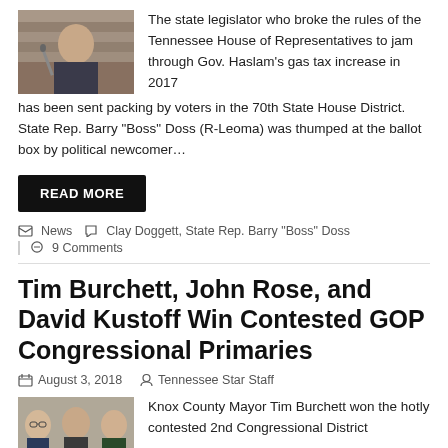[Figure (photo): Photo of a male state legislator seated, looking downward, in legislative chamber]
The state legislator who broke the rules of the Tennessee House of Representatives to jam through Gov. Haslam's gas tax increase in 2017 has been sent packing by voters in the 70th State House District. State Rep. Barry "Boss" Doss (R-Leoma) was thumped at the ballot box by political newcomer…
READ MORE
News  Clay Doggett, State Rep. Barry "Boss" Doss
9 Comments
Tim Burchett, John Rose, and David Kustoff Win Contested GOP Congressional Primaries
August 3, 2018   Tennessee Star Staff
[Figure (photo): Photo of three men (Tim Burchett, John Rose, David Kustoff) side by side]
Knox County Mayor Tim Burchett won the hotly contested 2nd Congressional District